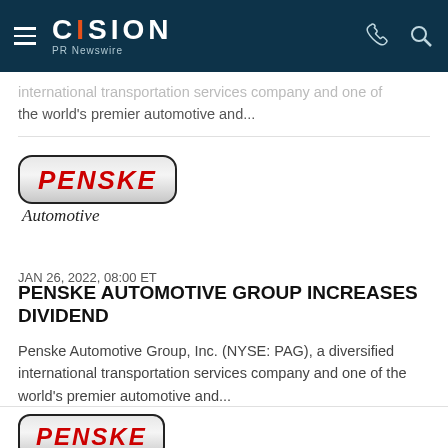CISION PR Newswire
international transportation services company and one of the world's premier automotive and...
[Figure (logo): Penske Automotive logo — red italic PENSKE text on silver rounded rectangle badge, with 'Automotive' in italic script below]
JAN 26, 2022, 08:00 ET
PENSKE AUTOMOTIVE GROUP INCREASES DIVIDEND
Penske Automotive Group, Inc. (NYSE: PAG), a diversified international transportation services company and one of the world's premier automotive and...
[Figure (logo): Penske logo — red italic PENSKE text on silver rounded rectangle badge (partial, bottom cut off)]